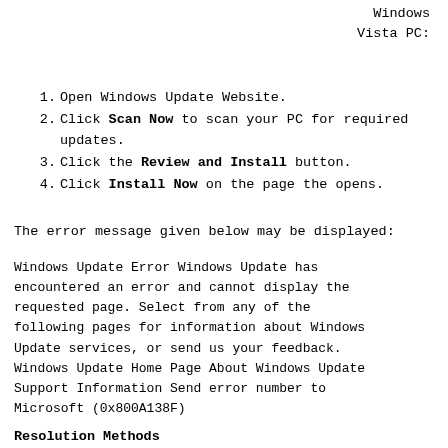Windows Vista PC:
1. Open Windows Update Website.
2. Click Scan Now to scan your PC for required updates.
3. Click the Review and Install button.
4. Click Install Now on the page the opens.
The error message given below may be displayed:
Windows Update Error Windows Update has encountered an error and cannot display the requested page. Select from any of the following pages for information about Windows Update services, or send us your feedback. Windows Update Home Page About Windows Update Support Information Send error number to Microsoft (0x800A138F)
Resolution Methods